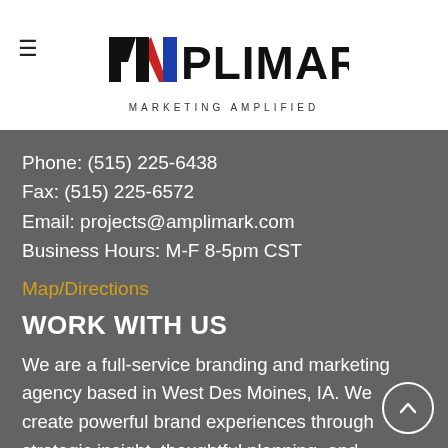[Figure (logo): Amplimark logo with text AMPLIMARK and tagline MARKETING AMPLIFIED]
Phone: (515) 225-6438
Fax: (515) 225-6572
Email: projects@amplimark.com
Business Hours: M-F 8-5pm CST
Map/Directions
WORK WITH US
We are a full-service branding and marketing agency based in West Des Moines, IA. We create powerful brand experiences through strategic insight, thoughtful planning, and superior